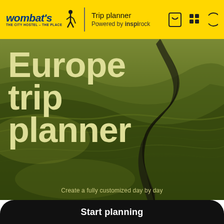[Figure (logo): Wombat's The City Hostel - The Place logo with hiker icon]
Trip planner
Powered by inspirock
[Figure (screenshot): Aerial green rolling farmland with winding dark path, hero background image]
Europe trip planner
Create a fully customized day by day
Start planning